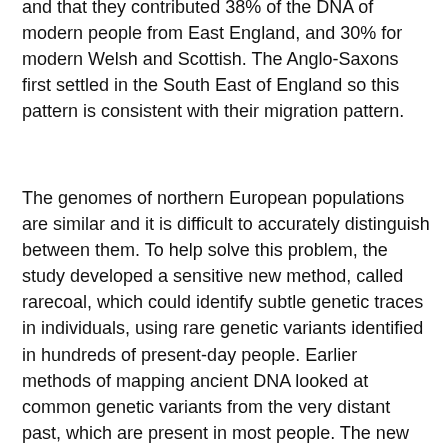and that they contributed 38% of the DNA of modern people from East England, and 30% for modern Welsh and Scottish. The Anglo-Saxons first settled in the South East of England so this pattern is consistent with their migration pattern.
The genomes of northern European populations are similar and it is difficult to accurately distinguish between them. To help solve this problem, the study developed a sensitive new method, called rarecoal, which could identify subtle genetic traces in individuals, using rare genetic variants identified in hundreds of present-day people. Earlier methods of mapping ancient DNA looked at common genetic variants from the very distant past, which are present in most people. The new rarecoal method did exactly the opposite, allowing researchers to map more recent events and unravel very closely related populations.